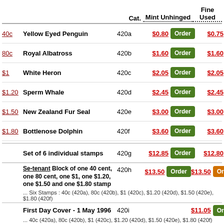|  | Name | Cat. | Mint Unhinged |  | Fine Used |  |
| --- | --- | --- | --- | --- | --- | --- |
| 40c | Yellow Eyed Penguin | 420a | $0.80 | Order | $0.75 | Order |
| 80c | Royal Albatross | 420b | $1.60 | Order | $1.60 | Order |
| $1 | White Heron | 420c | $2.05 | Order | $2.05 | Order |
| $1.20 | Sperm Whale | 420d | $2.45 | Order | $2.45 | Order |
| $1.50 | New Zealand Fur Seal | 420e | $3.00 | Order | $3.00 | Order |
| $1.80 | Bottlenose Dolphin | 420f | $3.60 | Order | $3.60 | Order |
|  | Set of 6 individual stamps | 420g | $12.85 | Order | $12.80 | Order |
|  | Se-tenant Block of one 40 cent, one 80 cent, one $1, one $1.20, one $1.50 and one $1.80 stamp | 420h | $13.50 | Order | $13.50 | Order |
|  | First Day Cover - 1 May 1996 | 420i |  |  | $11.05 | Order |
Bibliography